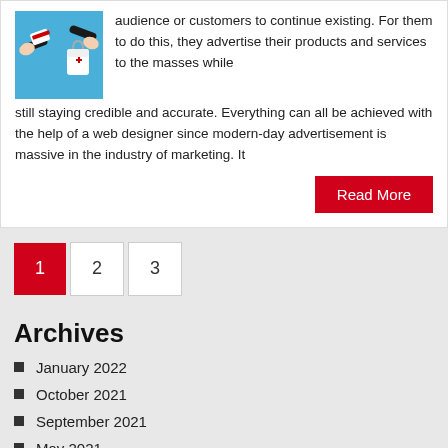[Figure (illustration): Illustration of two hands exchanging shopping bags against a blue background]
audience or customers to continue existing. For them to do this, they advertise their products and services to the masses while still staying credible and accurate. Everything can all be achieved with the help of a web designer since modern-day advertisement is massive in the industry of marketing. It
Read More
1  2  3
Archives
January 2022
October 2021
September 2021
May 2021